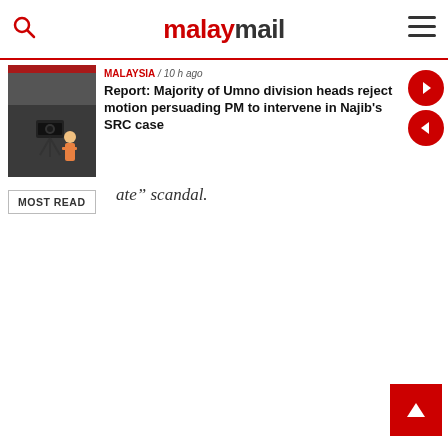malaymail
MALAYSIA / 10 h ago
Report: Majority of Umno division heads reject motion persuading PM to intervene in Najib's SRC case
ate" scandal.
MOST READ